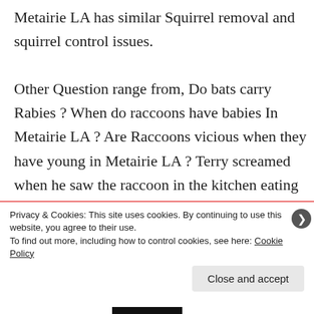Metairie LA has similar Squirrel removal and squirrel control issues. Other Question range from, Do bats carry Rabies ? When do raccoons have babies In Metairie LA ? Are Raccoons vicious when they have young in Metairie LA ? Terry screamed when he saw the raccoon in the kitchen eating the
Privacy & Cookies: This site uses cookies. By continuing to use this website, you agree to their use.
To find out more, including how to control cookies, see here: Cookie Policy
Close and accept